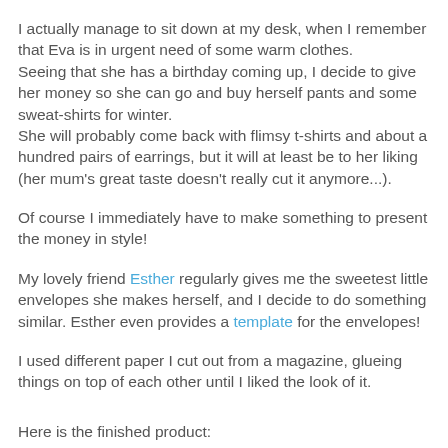I actually manage to sit down at my desk, when I remember that Eva is in urgent need of some warm clothes.
Seeing that she has a birthday coming up, I decide to give her money so she can go and buy herself pants and some sweat-shirts for winter.
She will probably come back with flimsy t-shirts and about a hundred pairs of earrings, but it will at least be to her liking (her mum's great taste doesn't really cut it anymore...).
Of course I immediately have to make something to present the money in style!
My lovely friend Esther regularly gives me the sweetest little envelopes she makes herself, and I decide to do something similar. Esther even provides a template for the envelopes!
I used different paper I cut out from a magazine, glueing things on top of each other until I liked the look of it.
Here is the finished product: